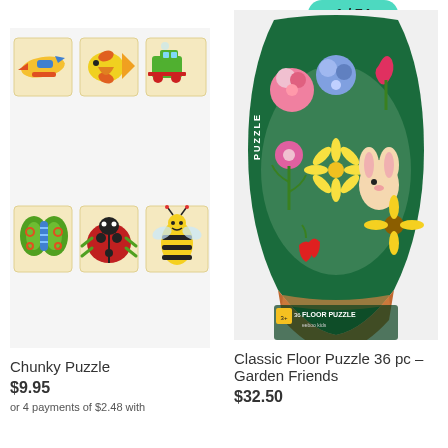[Figure (photo): Wooden chunky puzzle pieces showing colorful animals and vehicles: airplane, fish, train (top row), butterfly, ladybug, bee (bottom row) on cream/beige wooden boards]
[Figure (photo): Classic Floor Puzzle 36 pc Garden Friends box shaped like a flower pot, showing colorful flowers and a bunny, dark green box with FLOOR PUZZLE label]
Chunky Puzzle
$9.95
Classic Floor Puzzle 36 pc – Garden Friends
$32.50
or 4 payments of $2.48 with